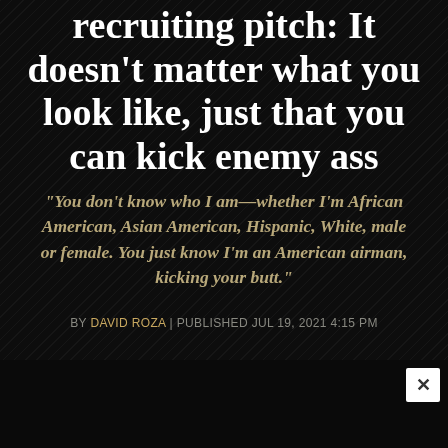recruiting pitch: It doesn't matter what you look like, just that you can kick enemy ass
“You don’t know who I am—whether I’m African American, Asian American, Hispanic, White, male or female. You just know I’m an American airman, kicking your butt.”
BY DAVID ROZA | PUBLISHED JUL 19, 2021 4:15 PM